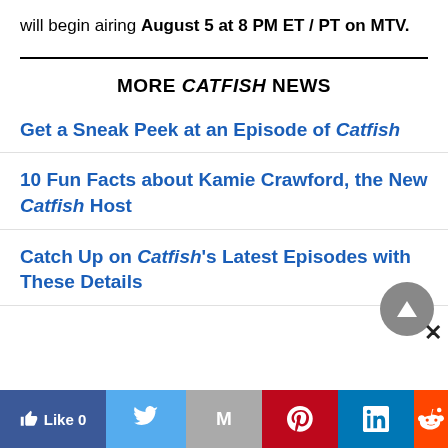will begin airing August 5 at 8 PM ET / PT on MTV.
MORE CATFISH NEWS
Get a Sneak Peek at an Episode of Catfish
10 Fun Facts about Kamie Crawford, the New Catfish Host
Catch Up on Catfish's Latest Episodes with These Details